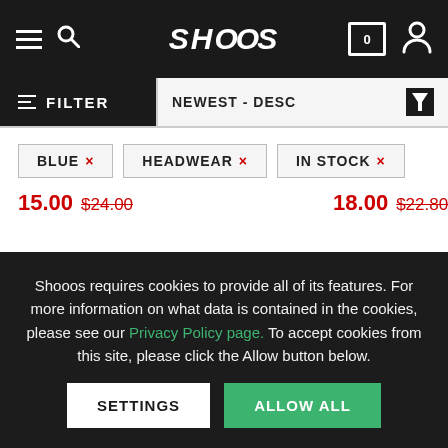SHOOOS - navigation header with hamburger menu, search, logo, cart (0), and user icon
FILTER | NEWEST - DESC
BLUE ×
HEADWEAR ×
IN STOCK ×
15.00 $24.00 (sale price left product)
18.00 $22.80 (sale price right product)
26% (discount badge left)
20% (discount badge right)
Shooos requires cookies to provide all of its features. For more information on what data is contained in the cookies, please see our Privacy Policy page. To accept cookies from this site, please click the Allow button below.
SETTINGS
ALLOW ALL